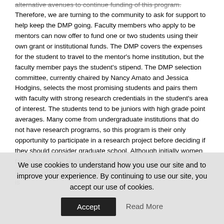alternative avenues to continue funding of this program.
Therefore, we are turning to the community to ask for support to help keep the DMP going. Faculty members who apply to be mentors can now offer to fund one or two students using their own grant or institutional funds. The DMP covers the expenses for the student to travel to the mentor's home institution, but the faculty member pays the student's stipend. The DMP selection committee, currently chaired by Nancy Amato and Jessica Hodgins, selects the most promising students and pairs them with faculty with strong research credentials in the student's area of interest. The students tend to be juniors with high grade point averages. Many come from undergraduate institutions that do not have research programs, so this program is their only opportunity to participate in a research project before deciding if they should consider graduate school. Although initially women faculty members tended to serve as mentors, now any faculty member who is interested in providing mentoring and guidance is
We use cookies to understand how you use our site and to improve your experience. By continuing to use our site, you accept our use of cookies.